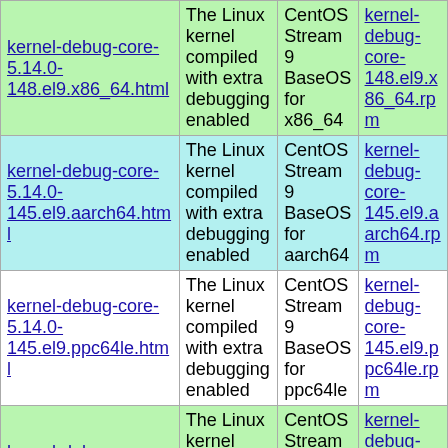| Package | Description | Repository | RPM |
| --- | --- | --- | --- |
| kernel-debug-core-5.14.0-148.el9.x86_64.html | The Linux kernel compiled with extra debugging enabled | CentOS Stream 9 BaseOS for x86_64 | kernel-debug-core-148.el9.x86_64.rpm |
| kernel-debug-core-5.14.0-145.el9.aarch64.html | The Linux kernel compiled with extra debugging enabled | CentOS Stream 9 BaseOS for aarch64 | kernel-debug-core-145.el9.aarch64.rpm |
| kernel-debug-core-5.14.0-145.el9.ppc64le.html | The Linux kernel compiled with extra debugging enabled | CentOS Stream 9 BaseOS for ppc64le | kernel-debug-core-145.el9.ppc64le.rpm |
| kernel-debug-core-5.14.0-145.el9.x86_64.html | The Linux kernel compiled with extra debugging enabled | CentOS Stream 9 BaseOS for x86_64 | kernel-debug-core-145.el9.x86_64.rpm |
| kernel-debug-core-5.14.0-... | The Linux kernel compiled | CentOS Stream 9 | kernel-debug-core-... |